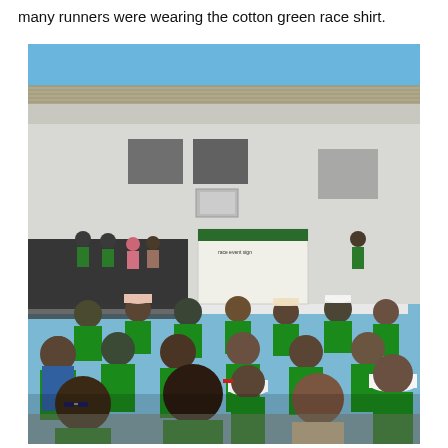many runners were wearing the cotton green race shirt.
[Figure (photo): Outdoor gathering of a large group of runners mostly wearing bright green t-shirts, standing in front of a white building with a corrugated metal roof under a blue sky. A stage or platform area is visible with people standing on it, and a banner/sign is displayed in the background.]